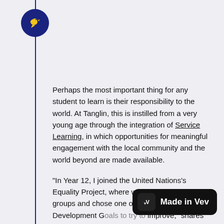[Figure (logo): Dark blue circle with a yellow bird icon, positioned at top left with a vertical dark blue line running down]
Perhaps the most important thing for any student to learn is their responsibility to the world. At Tanglin, this is instilled from a very young age through the integration of Service Learning, in which opportunities for meaningful engagement with the local community and the world beyond are made available.
"In Year 12, I joined the United Nations's Equality Project, where we split into small groups and chose one of the 17 UN Sustainable Development Goals to try to improve," shares Maia. "Normally, this would